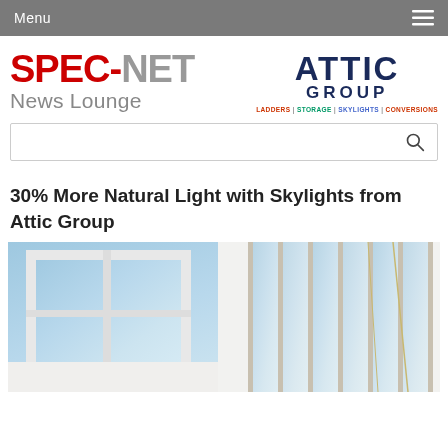Menu
[Figure (logo): SPEC-NET News Lounge logo on the left and ATTIC GROUP logo (LADDERS | STORAGE | SKYLIGHTS | CONVERSIONS) on the right]
[Figure (other): Search box with magnifying glass icon]
30% More Natural Light with Skylights from Attic Group
[Figure (photo): Interior photo showing skylights installed in a white ceiling/roof, with blue sky visible through the glass panels]